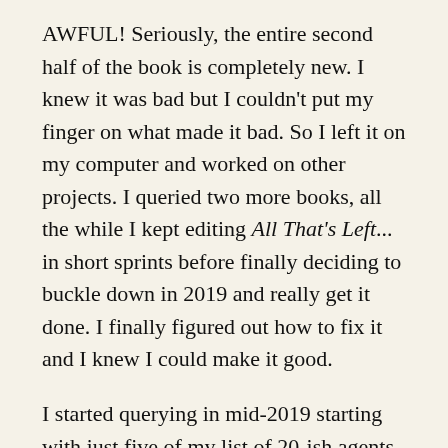AWFUL! Seriously, the entire second half of the book is completely new. I knew it was bad but I couldn't put my finger on what made it bad. So I left it on my computer and worked on other projects. I queried two more books, all the while I kept editing All That's Left... in short sprints before finally deciding to buckle down in 2019 and really get it done. I finally figured out how to fix it and I knew I could make it good.
I started querying in mid-2019 starting with just five of my list of 20-ish agents who I thought might be a good match. I got two offers of rep and signed with my agent